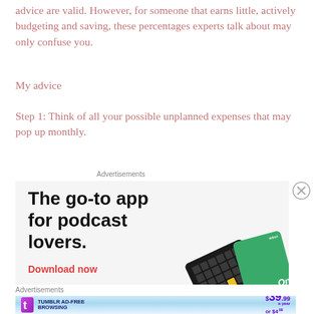advice are valid. However, for someone that earns little, actively budgeting and saving, these percentages experts talk about may only confuse you.
My advice
Step 1: Think of all your possible unplanned expenses that may pop up monthly.
Advertisements
[Figure (other): Advertisement for a podcast app. Text reads: 'The go-to app for podcast lovers. Download now' with images of podcast app cards (black and green cards).]
Advertisements
[Figure (other): Tumblr Ad-Free Browsing advertisement banner showing $39.99 a year or $4.99 a month pricing with Tumblr logo.]